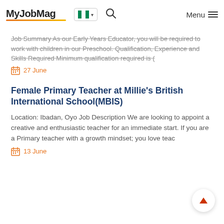MyJobMag
Job Summary As our Early Years Educator, you will be required to work with children in our Preschool. Qualification, Experience and Skills Required Minimum qualification required is (
27 June
Female Primary Teacher at Millie's British International School(MBIS)
Location: Ibadan, Oyo Job Description We are looking to appoint a creative and enthusiastic teacher for an immediate start. If you are a Primary teacher with a growth mindset; you love teac
13 June